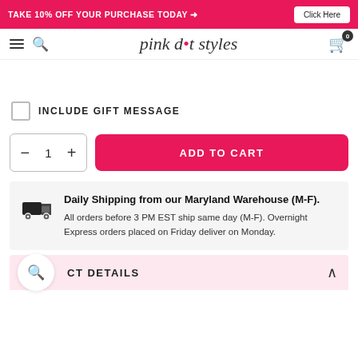TAKE 10% OFF YOUR PURCHASE TODAY → Click Here
[Figure (logo): pink dot styles logo in cursive/italic font with a pink dot]
INCLUDE GIFT MESSAGE
1 ADD TO CART
Daily Shipping from our Maryland Warehouse (M-F). All orders before 3 PM EST ship same day (M-F). Overnight Express orders placed on Friday deliver on Monday.
CT DETAILS